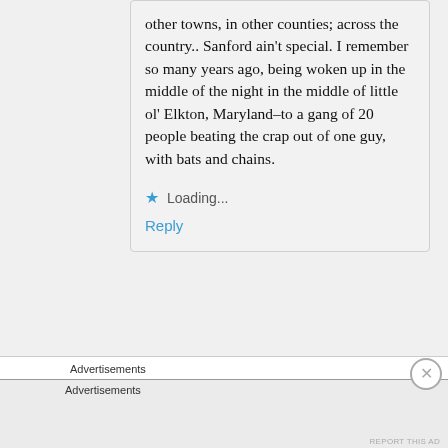other towns, in other counties; across the country.. Sanford ain't special. I remember so many years ago, being woken up in the middle of the night in the middle of little ol' Elkton, Maryland–to a gang of 20 people beating the crap out of one guy, with bats and chains.
★ Loading...
Reply
Advertisements
Advertisements